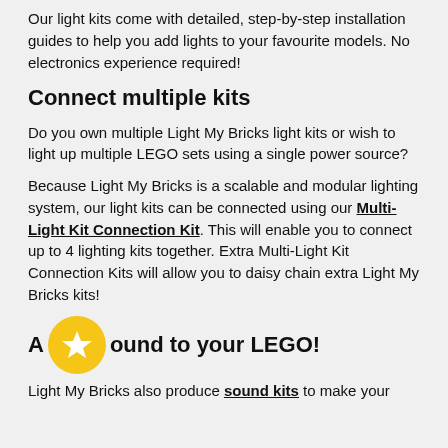Our light kits come with detailed, step-by-step installation guides to help you add lights to your favourite models. No electronics experience required!
Connect multiple kits
Do you own multiple Light My Bricks light kits or wish to light up multiple LEGO sets using a single power source?
Because Light My Bricks is a scalable and modular lighting system, our light kits can be connected using our Multi-Light Kit Connection Kit. This will enable you to connect up to 4 lighting kits together. Extra Multi-Light Kit Connection Kits will allow you to daisy chain extra Light My Bricks kits!
Add sound to your LEGO!
Light My Bricks also produce sound kits to make your